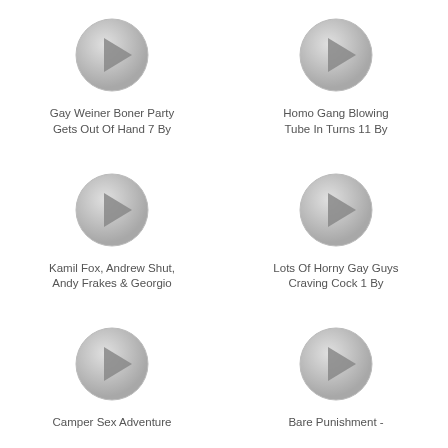[Figure (illustration): Play button icon (gray circle with triangle)]
Gay Weiner Boner Party Gets Out Of Hand 7 By
[Figure (illustration): Play button icon (gray circle with triangle)]
Homo Gang Blowing Tube In Turns 11 By
[Figure (illustration): Play button icon (gray circle with triangle)]
Kamil Fox, Andrew Shut, Andy Frakes & Georgio
[Figure (illustration): Play button icon (gray circle with triangle)]
Lots Of Horny Gay Guys Craving Cock 1 By
[Figure (illustration): Play button icon (gray circle with triangle)]
Camper Sex Adventure
[Figure (illustration): Play button icon (gray circle with triangle)]
Bare Punishment -